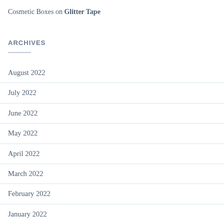Cosmetic Boxes on Glitter Tape
ARCHIVES
August 2022
July 2022
June 2022
May 2022
April 2022
March 2022
February 2022
January 2022
December 2021